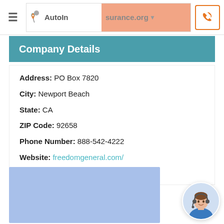AutoInsurance.org
Company Details
Address: PO Box 7820
City: Newport Beach
State: CA
ZIP Code: 92658
Phone Number: 888-542-4222
Website: freedomgeneral.com/
Year Founded: 1999
[Figure (map): Light blue map placeholder area showing a geographical map view]